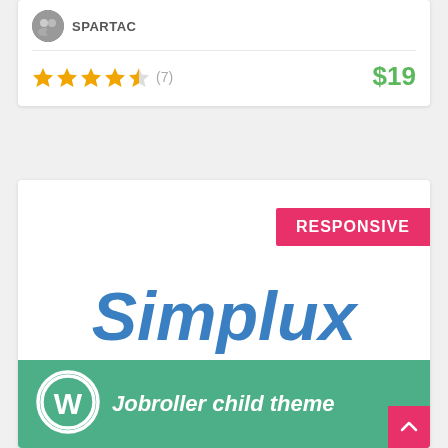[Figure (illustration): User avatar icon showing two people silhouette]
SPARTAC
[Figure (illustration): 4.5 out of 5 stars rating with 7 reviews, price $19]
(7)
$19
[Figure (screenshot): Product card showing RESPONSIVE badge, Simplux logo in blue italic font, and a green WordPress Jobroller child theme banner at bottom]